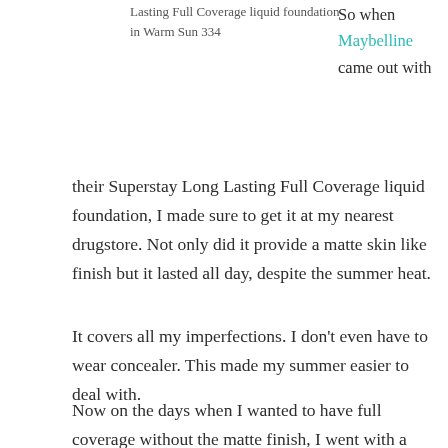Lasting Full Coverage liquid foundation in Warm Sun 334
So when Maybelline came out with their Superstay Long Lasting Full Coverage liquid foundation, I made sure to get it at my nearest drugstore. Not only did it provide a matte skin like finish but it lasted all day, despite the summer heat.
It covers all my imperfections. I don't even have to wear concealer. This made my summer easier to deal with.
Now on the days when I wanted to have full coverage without the matte finish, I went with a classic.